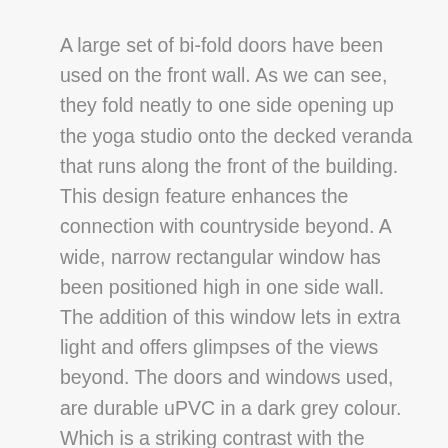A large set of bi-fold doors have been used on the front wall. As we can see, they fold neatly to one side opening up the yoga studio onto the decked veranda that runs along the front of the building. This design feature enhances the connection with countryside beyond. A wide, narrow rectangular window has been positioned high in one side wall. The addition of this window lets in extra light and offers glimpses of the views beyond. The doors and windows used, are durable uPVC in a dark grey colour. Which is a striking contrast with the tongue and groove softwood cladding which has been left natural.